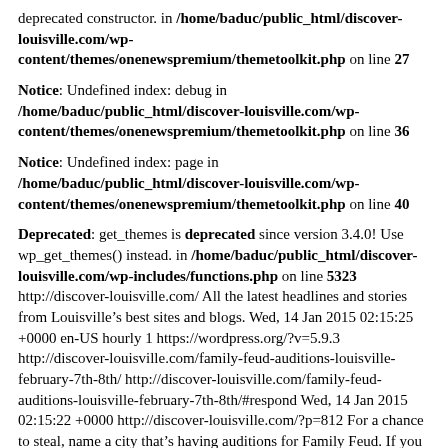deprecated constructor. in /home/baduc/public_html/discover-louisville.com/wp-content/themes/onenewspremium/themetoolkit.php on line 27
Notice: Undefined index: debug in /home/baduc/public_html/discover-louisville.com/wp-content/themes/onenewspremium/themetoolkit.php on line 36
Notice: Undefined index: page in /home/baduc/public_html/discover-louisville.com/wp-content/themes/onenewspremium/themetoolkit.php on line 40
Deprecated: get_themes is deprecated since version 3.4.0! Use wp_get_themes() instead. in /home/baduc/public_html/discover-louisville.com/wp-includes/functions.php on line 5323 http://discover-louisville.com/ All the latest headlines and stories from Louisville’s best sites and blogs. Wed, 14 Jan 2015 02:15:25 +0000 en-US hourly 1 https://wordpress.org/?v=5.9.3 http://discover-louisville.com/family-feud-auditions-louisville-february-7th-8th/ http://discover-louisville.com/family-feud-auditions-louisville-february-7th-8th/#respond Wed, 14 Jan 2015 02:15:22 +0000 http://discover-louisville.com/?p=812 For a chance to steal, name a city that’s having auditions for Family Feud. If you guessed, Louisville – you’re right! Family Feud will be holding auditions in Louisville on Feb. 7 and 8. To apply for Louisville, send an email to Louisville@FamilyTryouts.com